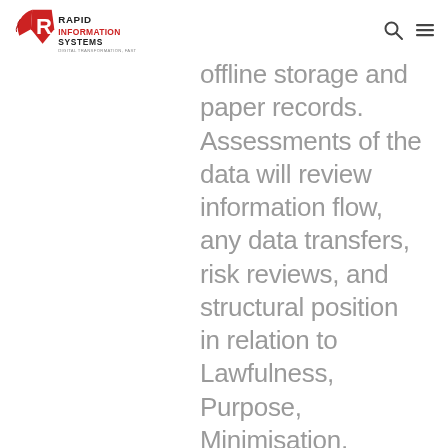Rapid Information Systems
offline storage and paper records. Assessments of the data will review information flow, any data transfers, risk reviews, and structural position in relation to Lawfulness, Purpose, Minimisation, Accuracy, Consent, Limitation